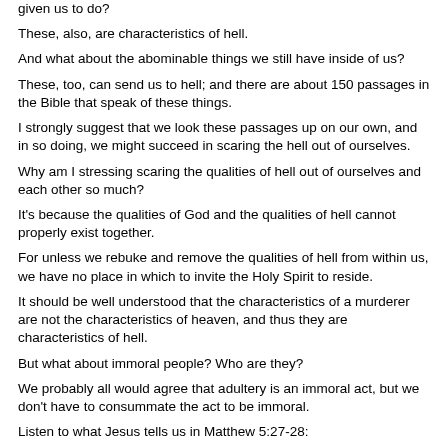given us to do?
These, also, are characteristics of hell.
And what about the abominable things we still have inside of us?
These, too, can send us to hell; and there are about 150 passages in the Bible that speak of these things.
I strongly suggest that we look these passages up on our own, and in so doing, we might succeed in scaring the hell out of ourselves.
Why am I stressing scaring the qualities of hell out of ourselves and each other so much?
It's because the qualities of God and the qualities of hell cannot properly exist together.
For unless we rebuke and remove the qualities of hell from within us, we have no place in which to invite the Holy Spirit to reside.
It should be well understood that the characteristics of a murderer are not the characteristics of heaven, and thus they are characteristics of hell.
But what about immoral people? Who are they?
We probably all would agree that adultery is an immoral act, but we don't have to consummate the act to be immoral.
Listen to what Jesus tells us in Matthew 5:27-28:
27. "You have heard that it was said, 'You shall not commit adultery';
28. but I say to you, that everyone who looks on a woman to lust for her has